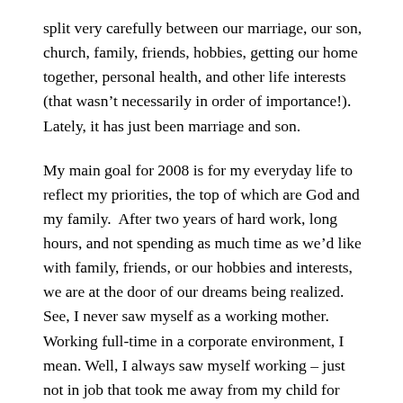split very carefully between our marriage, our son, church, family, friends, hobbies, getting our home together, personal health, and other life interests (that wasn't necessarily in order of importance!).  Lately, it has just been marriage and son.
My main goal for 2008 is for my everyday life to reflect my priorities, the top of which are God and my family.  After two years of hard work, long hours, and not spending as much time as we'd like with family, friends, or our hobbies and interests, we are at the door of our dreams being realized.  See, I never saw myself as a working mother.  Working full-time in a corporate environment, I mean.  Well, I always saw myself working – just not in job that took me away from my child for about 10 hours out of almost every day, doing work that used none of my God-given talents.  I never intended to have a child only to have